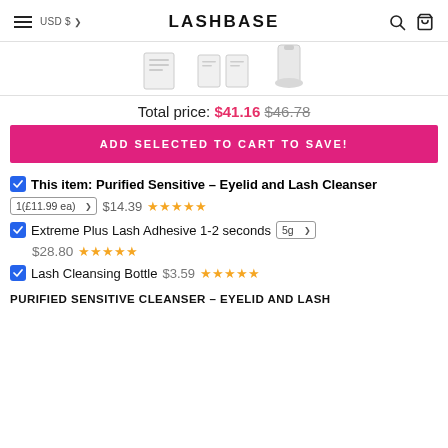LASHBASE  USD $
[Figure (photo): Three product images shown partially at top of page]
Total price: $41.16  $46.78
ADD SELECTED TO CART TO SAVE!
This item: Purified Sensitive – Eyelid and Lash Cleanser  1(£11.99 ea)  $14.39  ★★★★★
Extreme Plus Lash Adhesive 1-2 seconds  5g  $28.80  ★★★★★
Lash Cleansing Bottle  $3.59  ★★★★★
PURIFIED SENSITIVE CLEANSER – EYELID AND LASH